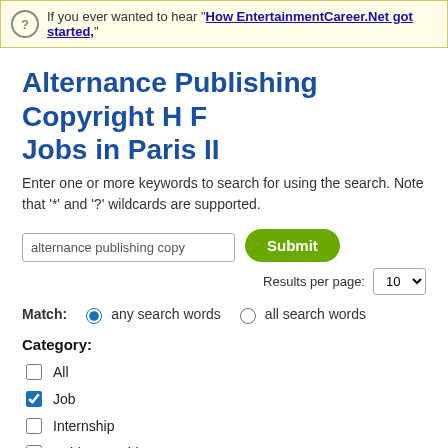If you ever wanted to hear "How EntertainmentCareer.Net got started,"
Alternance Publishing Copyright H F Jobs in Paris II
Enter one or more keywords to search for using the search. Note that '*' and '?' wildcards are supported.
Match: any search words  all search words
Category:
All
Job
Internship
Paid Internship
Remote/Virtual
Company
Support